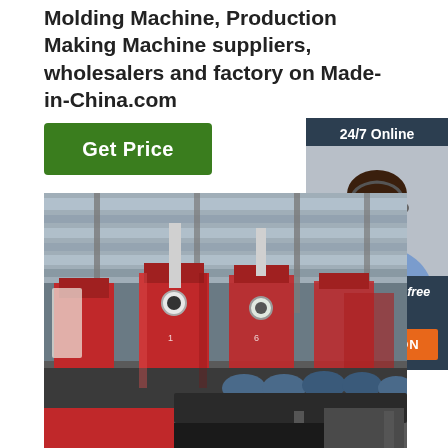Molding Machine, Production Making Machine suppliers, wholesalers and factory on Made-in-China.com
[Figure (other): Green 'Get Price' button]
[Figure (other): 24/7 Online chat panel with customer service representative photo, 'Click here for free chat!' text, and orange QUOTATION button]
[Figure (photo): Factory floor photo showing red industrial molding/pressing machines in a large industrial building, with blue machinery visible in the foreground]